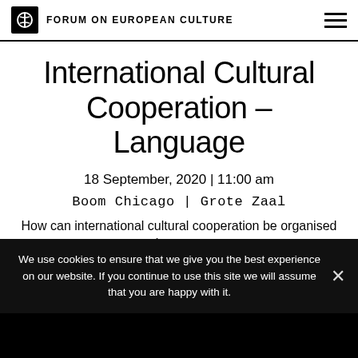FORUM ON EUROPEAN CULTURE
International Cultural Cooperation – Language
18 September, 2020 | 11:00 am
Boom Chicago | Grote Zaal
How can international cultural cooperation be organised in a way
We use cookies to ensure that we give you the best experience on our website. If you continue to use this site we will assume that you are happy with it.